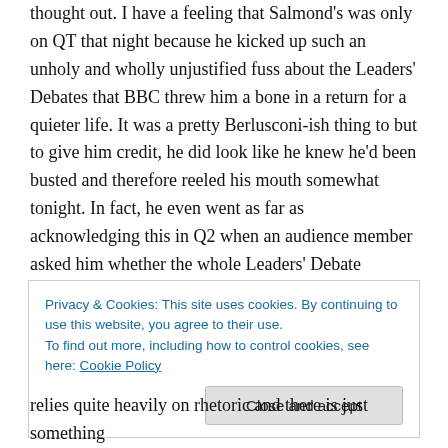thought out. I have a feeling that Salmond's was only on QT that night because he kicked up such an unholy and wholly unjustified fuss about the Leaders' Debates that BBC threw him a bone in a return for a quieter life. It was a pretty Berlusconi-ish thing to but to give him credit, he did look like he knew he'd been busted and therefore reeled his mouth somewhat tonight. In fact, he even went as far as acknowledging this in Q2 when an audience member asked him whether the whole Leaders' Debate brouhaha was a "cheap political trick". "It wasn't that cheap" came the reply. So in general, we didn't see much of Salmond
Privacy & Cookies: This site uses cookies. By continuing to use this website, you agree to their use.
To find out more, including how to control cookies, see here: Cookie Policy
Close and accept
relies quite heavily on rhetoric and there is just something